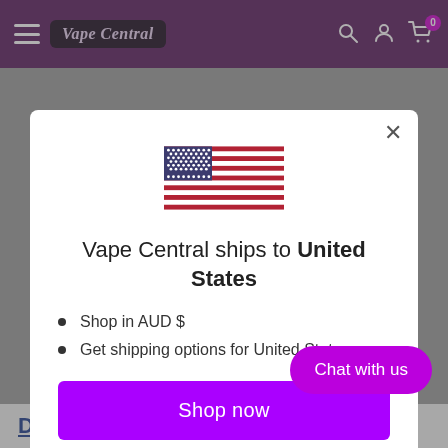Vape Central – navigation bar with hamburger menu, logo, search, account, and cart icons
[Figure (screenshot): US flag with blue canton of white stars and red/white stripes]
Vape Central ships to United States
Shop in AUD $
Get shipping options for United States
Shop now
Change shipping country
Chat with us
Description